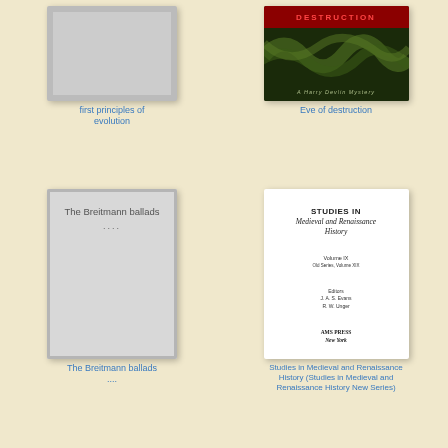[Figure (illustration): Book cover placeholder (gray) for 'first principles of evolution']
first principles of evolution
[Figure (illustration): Book cover for 'Eve of destruction' — dark background with red title text and swirling green pattern, subtitle 'A Harry Devlin Mystery']
Eve of destruction
[Figure (illustration): Book cover (gray placeholder) for 'The Breitmann ballads' with title and dots on cover]
The Breitmann ballads ....
[Figure (illustration): Book cover (white) for 'Studies in Medieval and Renaissance History' showing title, volume IX, editors, and AMS PRESS New York]
Studies in Medieval and Renaissance History (Studies in Medieval and Renaissance History New Series)